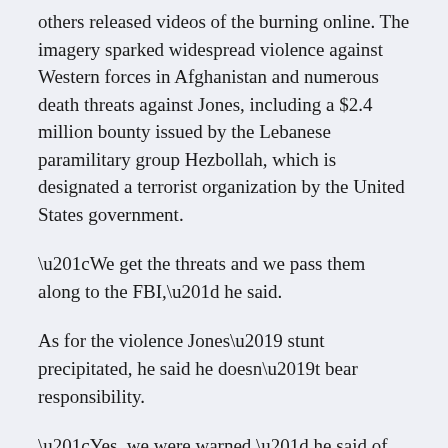others released videos of the burning online. The imagery sparked widespread violence against Western forces in Afghanistan and numerous death threats against Jones, including a $2.4 million bounty issued by the Lebanese paramilitary group Hezbollah, which is designated a terrorist organization by the United States government.
“We get the threats and we pass them along to the FBI,” he said.
As for the violence Jones’ stunt precipitated, he said he doesn’t bear responsibility.
“Yes, we were warned,” he said of the exhortations against burning the Quran for fear it might provoke violence.